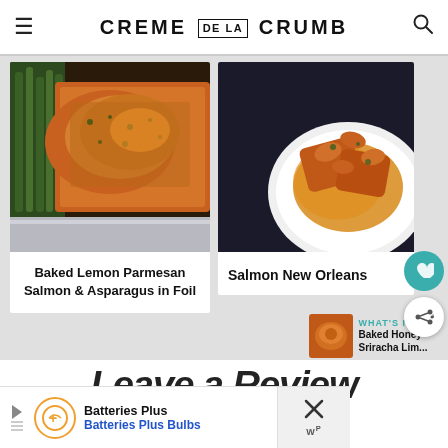CREME DE LA CRUMB
[Figure (photo): Baked salmon with asparagus on foil, golden brown crust with herbs]
Baked Lemon Parmesan Salmon & Asparagus in Foil
[Figure (photo): Salmon New Orleans dish with shrimp on a white plate with orange sauce]
Salmon New Orleans
[Figure (photo): Thumbnail of Baked Honey Sriracha Lim... recipe]
WHAT'S NEXT → Baked Honey Sriracha Lim...
Leave a Review
[Figure (infographic): Batteries Plus advertisement banner with logo, Batteries Plus Bulbs text, blue arrow sign icon, and close X button]